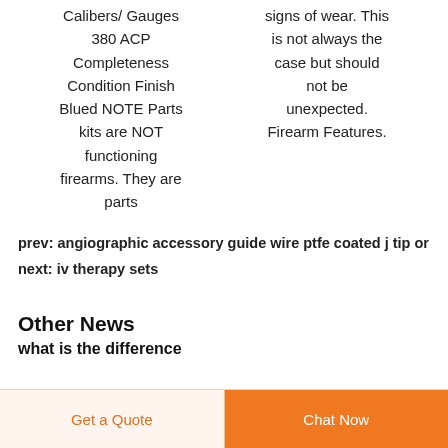Calibers/ Gauges 380 ACP Completeness Condition Finish Blued NOTE Parts kits are NOT functioning firearms. They are parts
signs of wear. This is not always the case but should not be unexpected. Firearm Features.
prev: angiographic accessory guide wire ptfe coated j tip or
next: iv therapy sets
Other News
what is the difference